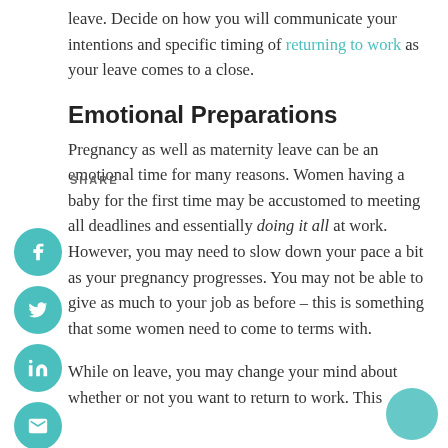leave. Decide on how you will communicate your intentions and specific timing of returning to work as your leave comes to a close.
Emotional Preparations
Pregnancy as well as maternity leave can be an emotional time for many reasons. Women having a baby for the first time may be accustomed to meeting all deadlines and essentially doing it all at work. However, you may need to slow down your pace a bit as your pregnancy progresses. You may not be able to give as much to your job as before – this is something that some women need to come to terms with.
While on leave, you may change your mind about whether or not you want to return to work. This